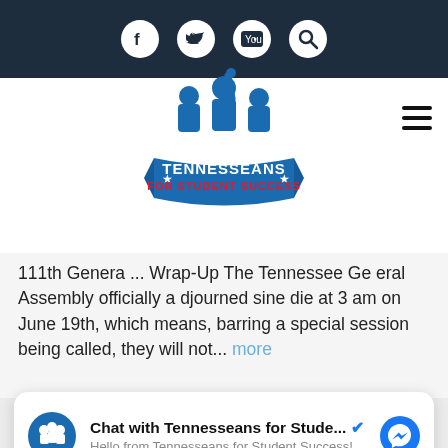[Figure (screenshot): Top navigation bar with dark background containing social media icons: Facebook, Twitter, YouTube, and Search]
[Figure (logo): Tennesseans for Student Success logo: blue silhouettes of students with raised hands above a banner reading TENNESSEANS FOR STUDENT SUCCESS with stars]
111th General ... Wrap-Up The Tennessee General Assembly officially adjourned sine die at 3 am on June 19th, which means, barring a special session being called, they will not... more
[Figure (screenshot): LEARN MORE button in white rounded rectangle]
[Figure (screenshot): Chat widget: Chat with Tennesseans for Stude... with verified badge and Messenger icon. Hello from Tennesseans for Student Success!]